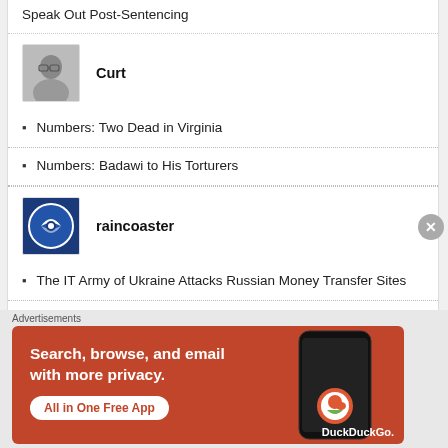Speak Out Post-Sentencing
[Figure (photo): Black and white photo of a man (Curt) with glasses]
Curt
Numbers: Two Dead in Virginia
Numbers: Badawi to His Torturers
[Figure (logo): raincoaster logo - blue circular icon with white arrow/eye symbol]
raincoaster
The IT Army of Ukraine Attacks Russian Money Transfer Sites
New Russian Target List from the IT Army of Ukraine
Raymond Johansen
Advertisements
[Figure (other): DuckDuckGo advertisement banner: Search, browse, and email with more privacy. All in One Free App. Orange background with phone graphic.]